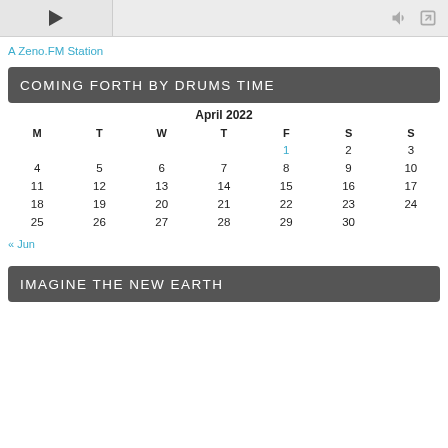[Figure (other): Media player bar with play button, speaker icon, and external link icon]
A Zeno.FM Station
COMING FORTH BY DRUMS TIME
| M | T | W | T | F | S | S |
| --- | --- | --- | --- | --- | --- | --- |
|  |  |  |  | 1 | 2 | 3 |
| 4 | 5 | 6 | 7 | 8 | 9 | 10 |
| 11 | 12 | 13 | 14 | 15 | 16 | 17 |
| 18 | 19 | 20 | 21 | 22 | 23 | 24 |
| 25 | 26 | 27 | 28 | 29 | 30 |  |
« Jun
IMAGINE THE NEW EARTH